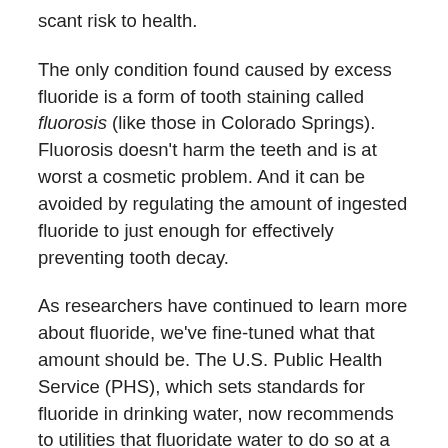scant risk to health.
The only condition found caused by excess fluoride is a form of tooth staining called fluorosis (like those in Colorado Springs). Fluorosis doesn't harm the teeth and is at worst a cosmetic problem. And it can be avoided by regulating the amount of ingested fluoride to just enough for effectively preventing tooth decay.
As researchers have continued to learn more about fluoride, we've fine-tuned what that amount should be. The U.S. Public Health Service (PHS), which sets standards for fluoride in drinking water, now recommends to utilities that fluoridate water to do so at a ratio of 0.7 mg of fluoride to 1 liter of water. This miniscule amount is even lower than previous recommendations.
The bottom line: Fluoride can have an immense impact on your family's dental health—and it doesn't take much. Excessive amounts, though